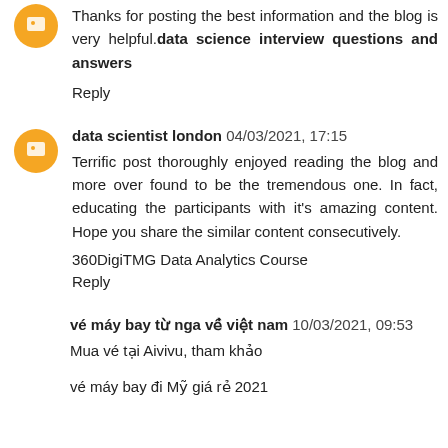Thanks for posting the best information and the blog is very helpful.data science interview questions and answers
Reply
data scientist london  04/03/2021, 17:15
Terrific post thoroughly enjoyed reading the blog and more over found to be the tremendous one. In fact, educating the participants with it's amazing content. Hope you share the similar content consecutively.
360DigiTMG Data Analytics Course
Reply
vé máy bay từ nga về việt nam  10/03/2021, 09:53
Mua vé tại Aivivu, tham khảo
vé máy bay đi Mỹ giá rẻ 2021